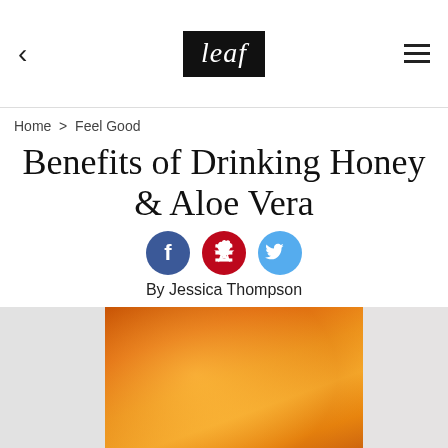leaf
Home > Feel Good
Benefits of Drinking Honey & Aloe Vera
[Figure (other): Social share icons: Facebook (blue circle), Pinterest (red circle), Twitter (light blue circle)]
By Jessica Thompson
[Figure (photo): Close-up photo of golden amber honey in a glass jar or container, warm orange tones with soft blurred background]